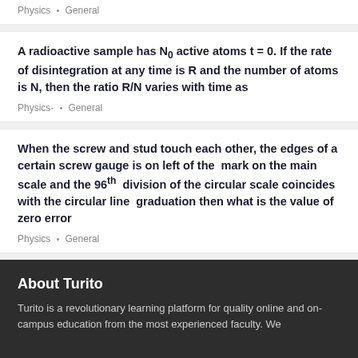Physics • General
A radioactive sample has N₀ active atoms t = 0. If the rate of disintegration at any time is R and the number of atoms is N, then the ratio R/N varies with time as
Physics- • General
When the screw and stud touch each other, the edges of a certain screw gauge is on left of the mark on the main scale and the 96th division of the circular scale coincides with the circular line graduation then what is the value of zero error
Physics • General
About Turito
Turito is a revolutionary learning platform for quality online and on-campus education from the most experienced faculty. We